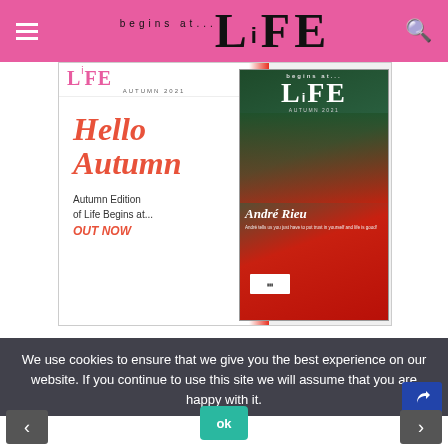begins at... LiFE [magazine website header with menu and search icons]
[Figure (photo): Magazine spread showing two covers: left cover with 'Hello Autumn' script text in red/coral, subtitle 'Autumn Edition of Life Begins at... OUT NOW', AUTUMN 2021 label; right cover of Life Begins at... magazine featuring André Rieu in red blazer]
We use cookies to ensure that we give you the best experience on our website. If you continue to use this site we will assume that you are happy with it.
[Figure (screenshot): Ok button (teal/green) for cookie consent]